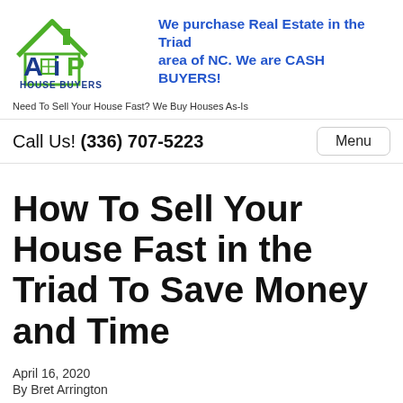[Figure (logo): AIP House Buyers logo with house outline in green, letters A-I-P in blue/green, and text HOUSE BUYERS below]
We purchase Real Estate in the Triad area of NC. We are CASH BUYERS!
Need To Sell Your House Fast? We Buy Houses As-Is
Call Us! (336) 707-5223
Menu
How To Sell Your House Fast in the Triad To Save Money and Time
April 16, 2020
By Bret Arrington